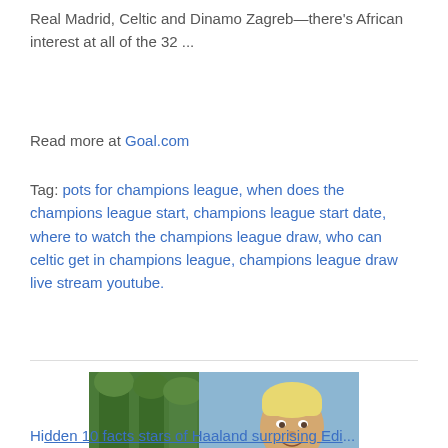Real Madrid, Celtic and Dinamo Zagreb—there's African interest at all of the 32 ...
Read more at Goal.com
Tag: pots for champions league, when does the champions league start, champions league start date, where to watch the champions league draw, who can celtic get in champions league, champions league draw live stream youtube.
[Figure (photo): Split image: left side shows a rural path with trees and greenery; right side shows a footballer wearing a light blue Manchester City jersey (ETIHAD sponsor) with blonde hair, smiling.]
Hidden 10 facts stars of Haaland surprising Edling...